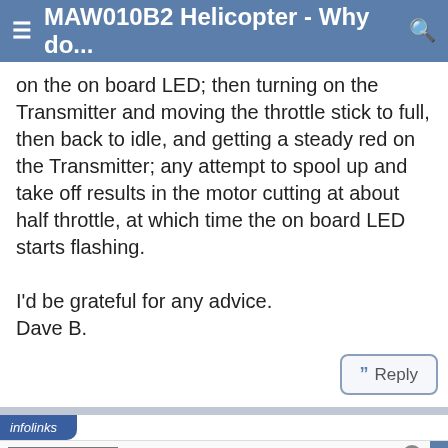MAW010B2 Helicopter - Why do...
on the on board LED; then turning on the Transmitter and moving the throttle stick to full, then back to idle, and getting a steady red on the Transmitter; any attempt to spool up and take off results in the motor cutting at about half throttle, at which time the on board LED starts flashing.

I'd be grateful for any advice.
Dave B.
[Figure (screenshot): Reply button with quotation mark icon]
[Figure (infographic): Infolinks advertisement banner for Frontgate Outdoor Furniture and Bedding, showing 25% off sitewide sale at frontgate.com]